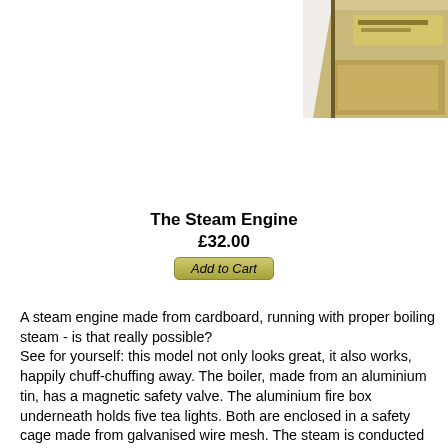[Figure (photo): Product box of The Steam Engine kit, brown/gold packaging, partially visible in top-right corner]
The Steam Engine
£32.00
Add to Cart
A steam engine made from cardboard, running with proper boiling steam - is that really possible?
See for yourself: this model not only looks great, it also works, happily chuff-chuffing away. The boiler, made from an aluminium tin, has a magnetic safety valve. The aluminium fire box underneath holds five tea lights. Both are enclosed in a safety cage made from galvanised wire mesh. The steam is conducted through a closed system of tubes and plastic foil before being emitted through the chimney.
This clever construction keeps cardboard and steam separated with the piston being moved by a bellows made from the finger of a plastic glove.
Pre-punched kit with gold printing.
Construction time: 20-30 hours
Includes: aluminium sheet, aluminium tin, wire mesh, bearings, syringes, silicon tube, ring magnet, plastic